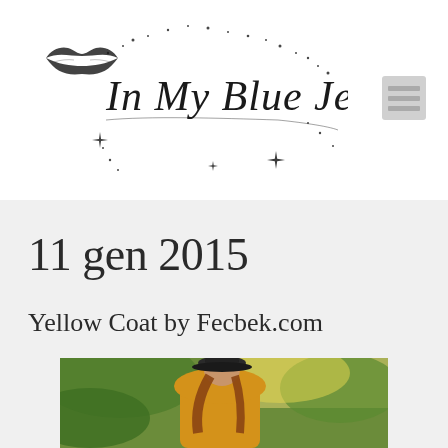[Figure (logo): In My Blue Jeans cursive script blog logo with lip print and sparkle star decorations]
[Figure (other): Hamburger menu icon (three horizontal grey lines)]
11 gen 2015
Yellow Coat by Fecbek.com
[Figure (photo): Woman wearing a yellow/mustard coat and black hat, standing outdoors among green foliage, looking down]